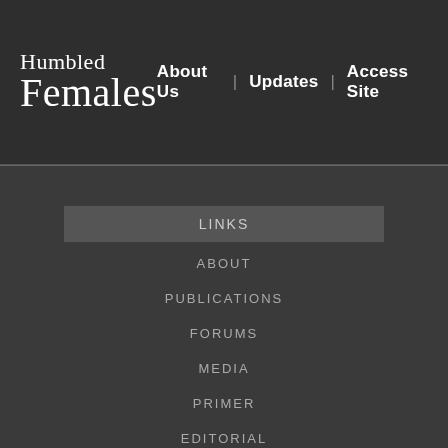Humbled Females | About Us | Updates | Access Site
LINKS
ABOUT
PUBLICATIONS
FORUMS
MEDIA
PRIMER
EDITORIAL
CONNECT
CONTACT
SUPPORT & PROMOTE
ROUTE